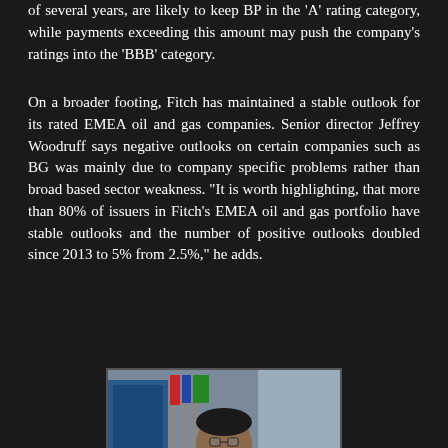of several years, are likely to keep BP in the 'A' rating category, while payments exceeding this amount may push the company's ratings into the 'BBB' category.
On a broader footing, Fitch has maintained a stable outlook for its rated EMEA oil and gas companies. Senior director Jeffrey Woodruff says negative outlooks on certain companies such as BG was mainly due to company specific problems rather than broad based sector weakness. "It is worth highlighting, that more than 80% of issuers in Fitch's EMEA oil and gas portfolio have stable outlooks and the number of positive outlooks doubled since 2013 to 5% from 2.5," he adds.
[Figure (photo): Photo of a man in a suit being interviewed, with flags and a conference room visible in the background]
Finally, rounding the last four hectic weeks off, here is the Oilholic's latest article for Forbes touching on the recent